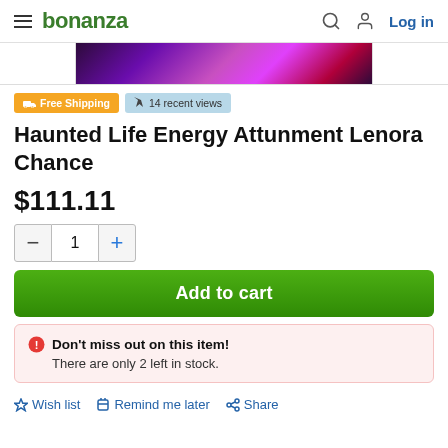bonanza  Log in
[Figure (photo): Product image strip showing a dark purple/magenta ethereal energy background]
🚚 Free Shipping   🚩 14 recent views
Haunted Life Energy Attunment Lenora Chance
$111.11
Quantity: 1
Add to cart
Don't miss out on this item! There are only 2 left in stock.
☆ Wish list   Remind me later   Share